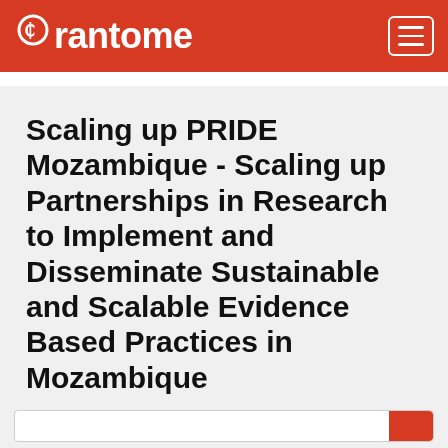Grantome
Scaling up PRIDE Mozambique - Scaling up Partnerships in Research to Implement and Disseminate Sustainable and Scalable Evidence Based Practices in Mozambique
Wainberg, Milton L.
New York State Psychiatric Institute, New York, NY, United States